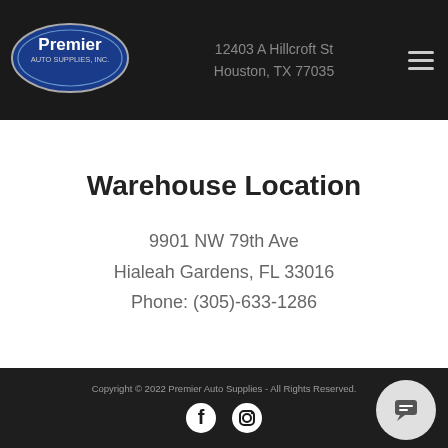[Figure (logo): Premier Auto Supplies, Inc. oval logo with white text on dark blue background]
12403 A Hillcroft St
Houston, TX 77035
Warehouse Location
9901 NW 79th Ave
Hialeah Gardens, FL 33016
Phone: (305)-633-1286
Copyright © 2022 Premier Auto Supplies - All Rights Reserved.